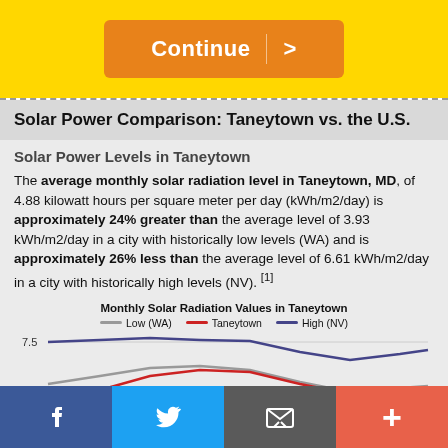[Figure (other): Yellow banner with orange 'Continue >' button]
Solar Power Comparison: Taneytown vs. the U.S.
Solar Power Levels in Taneytown
The average monthly solar radiation level in Taneytown, MD, of 4.88 kilowatt hours per square meter per day (kWh/m2/day) is approximately 24% greater than the average level of 3.93 kWh/m2/day in a city with historically low levels (WA) and is approximately 26% less than the average level of 6.61 kWh/m2/day in a city with historically high levels (NV). [1]
[Figure (line-chart): Line chart showing monthly solar radiation for Low (WA), Taneytown, and High (NV). Y-axis label 7.5 visible.]
[Figure (other): Bottom navigation bar with Facebook, Twitter, Email, and Plus icons]